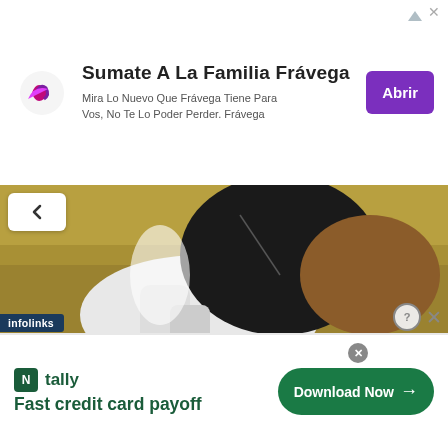[Figure (screenshot): Top advertisement banner for Frávega with purple logo, text, and purple Abrir button]
[Figure (photo): Close-up photo of a dog (black, white, brown) in a golden grass field]
9 Of The Best Family Friendly Dog Breeds
HERBEAUTY
[Figure (photo): Close-up photo of a dog with dark red/maroon and white fur]
[Figure (screenshot): Bottom advertisement for Tally - Fast credit card payoff, with Download Now button]